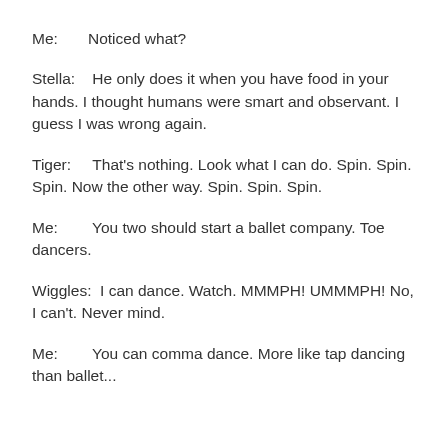Me:       Noticed what?
Stella:    He only does it when you have food in your hands. I thought humans were smart and observant. I guess I was wrong again.
Tiger:      That's nothing. Look what I can do. Spin. Spin. Spin. Now the other way. Spin. Spin. Spin.
Me:         You two should start a ballet company. Toe dancers.
Wiggles:   I can dance. Watch. MMMPH! UMMMPH! No, I can't. Never mind.
Me:         You can comma dance. More like tap dancing than ballet...